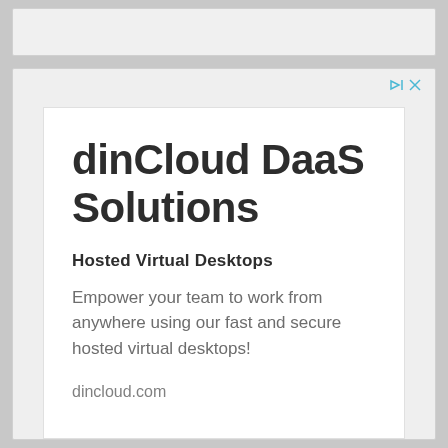[Figure (screenshot): Web browser screenshot showing a top navigation/search bar area (gray) and below it an advertisement card for dinCloud DaaS Solutions.]
dinCloud DaaS Solutions
Hosted Virtual Desktops
Empower your team to work from anywhere using our fast and secure hosted virtual desktops!
dincloud.com